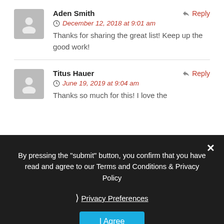Aden Smith
December 12, 2018 at 9:01 am
Thanks for sharing the great list! Keep up the good work!
Titus Hauer
June 19, 2019 at 9:04 am
Thanks so much for this! I love the
By pressing the "submit" button, you confirm that you have read and agree to our Terms and Conditions & Privacy Policy
❯ Privacy Preferences
I Agree
LEAVE A REPLY